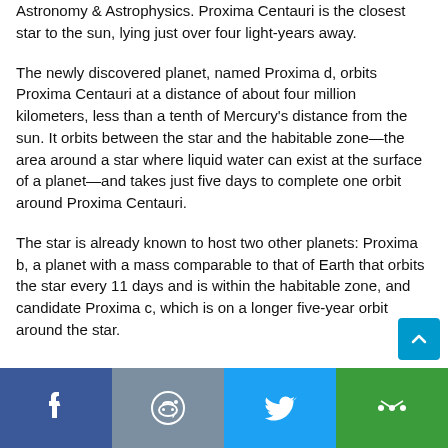Astronomy & Astrophysics. Proxima Centauri is the closest star to the sun, lying just over four light-years away.
The newly discovered planet, named Proxima d, orbits Proxima Centauri at a distance of about four million kilometers, less than a tenth of Mercury's distance from the sun. It orbits between the star and the habitable zone—the area around a star where liquid water can exist at the surface of a planet—and takes just five days to complete one orbit around Proxima Centauri.
The star is already known to host two other planets: Proxima b, a planet with a mass comparable to that of Earth that orbits the star every 11 days and is within the habitable zone, and candidate Proxima c, which is on a longer five-year orbit around the star.